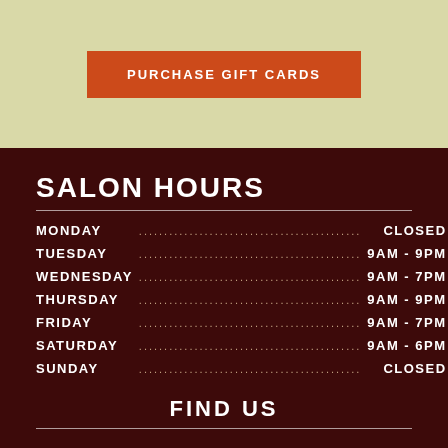PURCHASE GIFT CARDS
SALON HOURS
| Day |  | Hours |
| --- | --- | --- |
| MONDAY | ............................................ | CLOSED |
| TUESDAY | ............................................ | 9AM - 9PM |
| WEDNESDAY | ............................................ | 9AM - 7PM |
| THURSDAY | ............................................ | 9AM - 9PM |
| FRIDAY | ............................................ | 9AM - 7PM |
| SATURDAY | ............................................ | 9AM - 6PM |
| SUNDAY | ............................................ | CLOSED |
FIND US